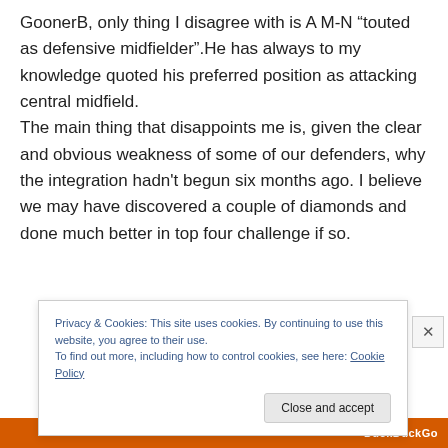GoonerB, only thing I disagree with is A M-N “touted as defensive midfielder”.He has always to my knowledge quoted his preferred position as attacking central midfield. The main thing that disappoints me is, given the clear and obvious weakness of some of our defenders, why the integration hadn't begun six months ago. I believe we may have discovered a couple of diamonds and done much better in top four challenge if so.
Privacy & Cookies: This site uses cookies. By continuing to use this website, you agree to their use.
To find out more, including how to control cookies, see here: Cookie Policy